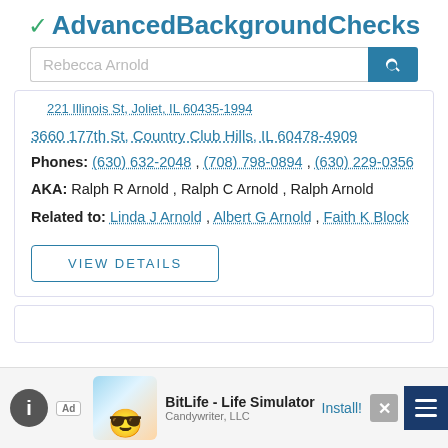✔ AdvancedBackgroundChecks
Rebecca Arnold [search input]
221 Illinois St, Joliet, IL 60435-1994
3660 177th St, Country Club Hills, IL 60478-4909
Phones: (630) 632-2048 , (708) 798-0894 , (630) 229-0356
AKA: Ralph R Arnold , Ralph C Arnold , Ralph Arnold
Related to: Linda J Arnold , Albert G Arnold , Faith K Block
VIEW DETAILS
Ad BitLife - Life Simulator Candywriter, LLC Install!